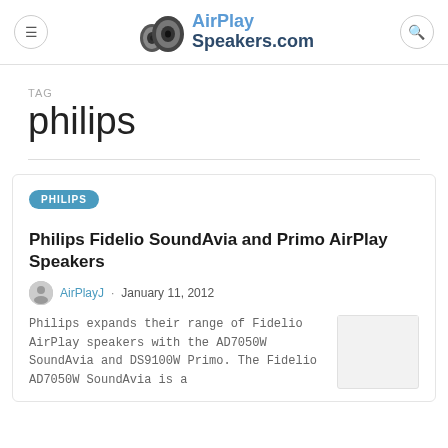AirPlay Speakers.com
TAG
philips
Philips Fidelio SoundAvia and Primo AirPlay Speakers
AirPlayJ · January 11, 2012
Philips expands their range of Fidelio AirPlay speakers with the AD7050W SoundAvia and DS9100W Primo. The Fidelio AD7050W SoundAvia is a